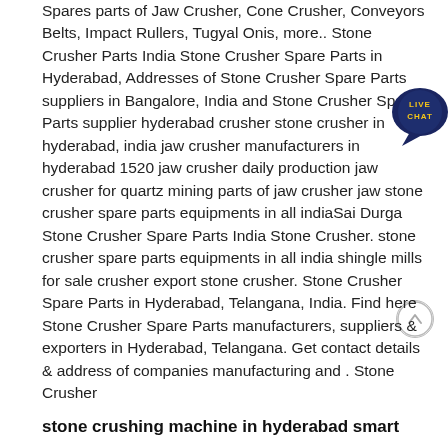Spares parts of Jaw Crusher, Cone Crusher, Conveyors Belts, Impact Rullers, Tugyal Onis, more.. Stone Crusher Parts India Stone Crusher Spare Parts in Hyderabad, Addresses of Stone Crusher Spare Parts suppliers in Bangalore, India and Stone Crusher Spare Parts supplier hyderabad crusher stone crusher in hyderabad, india jaw crusher manufacturers in hyderabad 1520 jaw crusher daily production jaw crusher for quartz mining parts of jaw crusher jaw stone crusher spare parts equipments in all indiaSai Durga Stone Crusher Spare Parts India Stone Crusher. stone crusher spare parts equipments in all india shingle mills for sale crusher export stone crusher. Stone Crusher Spare Parts in Hyderabad, Telangana, India. Find here Stone Crusher Spare Parts manufacturers, suppliers & exporters in Hyderabad, Telangana. Get contact details & address of companies manufacturing and . Stone Crusher
[Figure (other): Live Chat button — dark navy circle with speech bubble, text 'LIVE CHAT' in yellow/gold, top-right corner]
[Figure (other): Scroll-to-top circle icon with upward arrow, light gray border, lower right area]
stone crushing machine in hyderabad smart